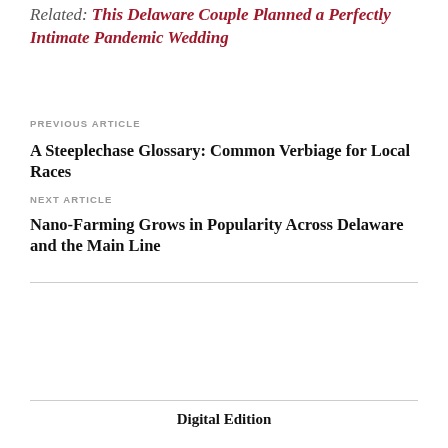Related: This Delaware Couple Planned a Perfectly Intimate Pandemic Wedding
PREVIOUS ARTICLE
A Steeplechase Glossary: Common Verbiage for Local Races
NEXT ARTICLE
Nano-Farming Grows in Popularity Across Delaware and the Main Line
Digital Edition